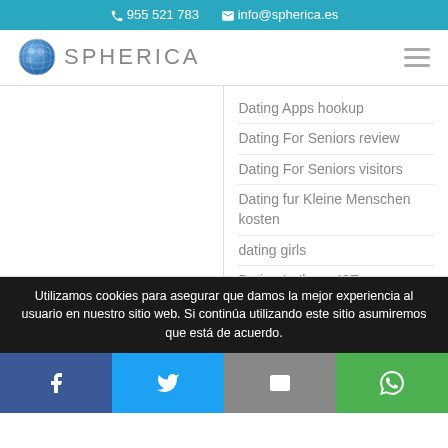☎ 955 521 783  ✉ info@spherica.es
[Figure (logo): Spherica logo with globe icon and text SPHERICA]
Dating Apps hookup
Dating For Seniors review
Dating For Seniors visitors
Dating fur Kleine Menschen kosten
dating girls
Dating In Ihren 40Ern
Utilizamos cookies para asegurar que damos la mejor experiencia al usuario en nuestro sitio web. Si continúa utilizando este sitio asumiremos que está de acuerdo.
[Figure (infographic): Social share buttons: Facebook, Twitter, Email, WhatsApp]